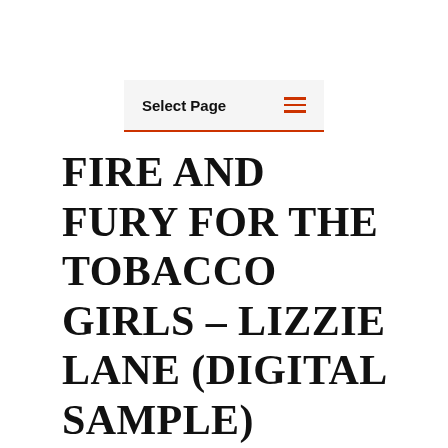Select Page
FIRE AND FURY FOR THE TOBACCO GIRLS – LIZZIE LANE (DIGITAL SAMPLE)